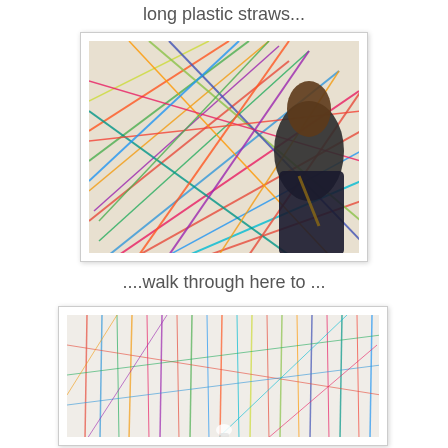long plastic straws...
[Figure (photo): Person with long dark hair viewed from behind, standing in front of a large colorful art installation made of many tangled long plastic straws in red, green, blue, yellow and other colors]
....walk through here to ...
[Figure (photo): Interior view of a large colorful art installation made of long plastic straws, showing the inside walkable space with straws hanging and crossing in many colors including red, green, blue, and orange]